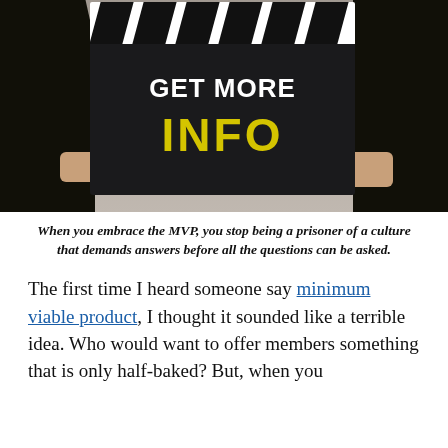[Figure (photo): Person in a black suit holding a clapperboard that reads 'GET MORE INFO' with 'INFO' in yellow text, against a gray background.]
When you embrace the MVP, you stop being a prisoner of a culture that demands answers before all the questions can be asked.
The first time I heard someone say minimum viable product, I thought it sounded like a terrible idea. Who would want to offer members something that is only half-baked? But, when you